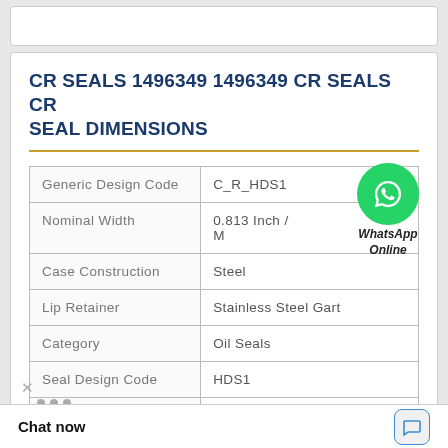CR SEALS 1496349 1496349 CR SEALS CR SEAL DIMENSIONS
| Property | Value |
| --- | --- |
| Generic Design Code | C_R_HDS1 |
| Nominal Width | 0.813 Inch / M |
| Case Construction | Steel |
| Lip Retainer | Stainless Steel Gart |
| Category | Oil Seals |
| Seal Design Code | HDS1 |
|  | 3.25 Inch / 463.5 |
[Figure (other): WhatsApp Online chat bubble overlay with green circle phone icon and italic bold label 'WhatsApp Online']
Chat now